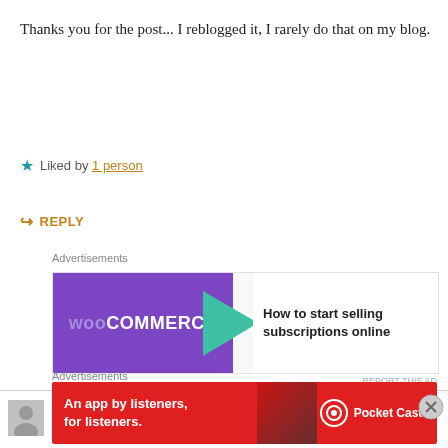Thanks you for the post... I reblogged it, I rarely do that on my blog.
★ Liked by 1 person
↪ REPLY
Advertisements
[Figure (other): WooCommerce advertisement banner: 'How to start selling subscriptions online']
Advertisements
ProsperityAndCalamities
APRIL 17, 2016 AT 11:09 AM
I find it kind of funny that a lot of posts/articles similar to
[Figure (other): Pocket Casts advertisement: 'An app by listeners, for listeners.']